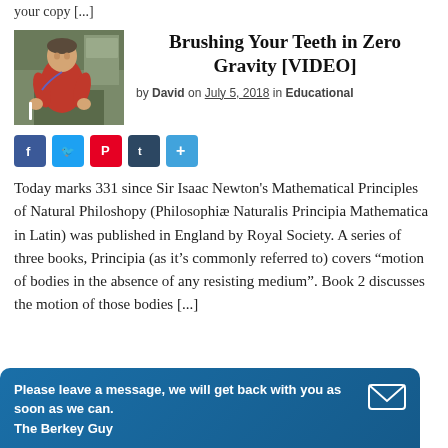your copy [...]
Brushing Your Teeth in Zero Gravity [VIDEO]
[Figure (photo): Person in red shirt in zero-gravity environment holding toothbrush, ISS interior visible]
by David on July 5, 2018 in Educational
[Figure (infographic): Social media share buttons: Facebook, Twitter, Pinterest, Tumblr, Share]
Today marks 331 since Sir Isaac Newton's Mathematical Principles of Natural Philoshopy (Philosophiæ Naturalis Principia Mathematica in Latin) was published in England by Royal Society. A series of three books, Principia (as it's commonly referred to) covers "motion of bodies in the absence of any resisting medium". Book 2 discusses the motion of those bodies [...]
Please leave a message, we will get back with you as soon as we can. The Berkey Guy